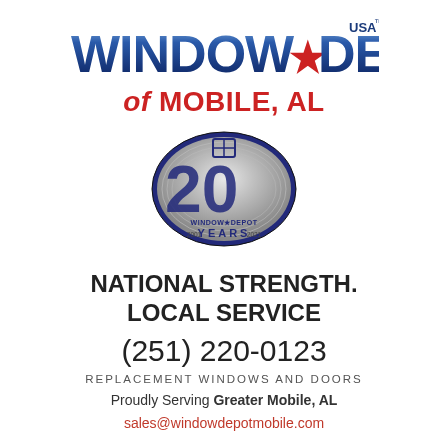[Figure (logo): Window Depot USA logo with star and 'of MOBILE, AL' subtitle in red]
[Figure (logo): Window Depot 20 Years anniversary badge (2001-2021), oval silver badge with '20' and 'YEARS' text]
NATIONAL STRENGTH. LOCAL SERVICE
(251) 220-0123
REPLACEMENT WINDOWS AND DOORS
Proudly Serving Greater Mobile, AL
sales@windowdepotmobile.com